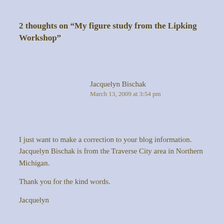2 thoughts on “My figure study from the Lipking Workshop”
Jacquelyn Bischak
March 13, 2009 at 3:54 pm
I just want to make a correction to your blog information. Jacquelyn Bischak is from the Traverse City area in Northern Michigan.
Thank you for the kind words.
Jacquelyn